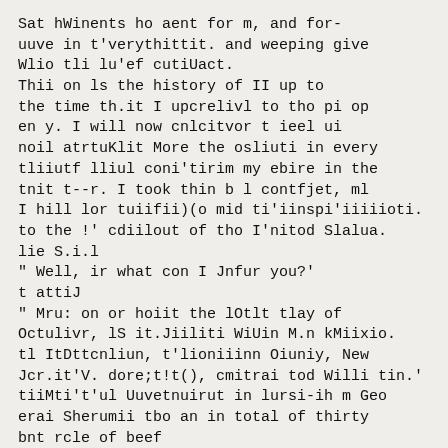Sat hWinents ho aent for m, and for-uuve in t'verythittit. and weeping give Wlio tli lu'ef cutiUact.
Thii on ls the history of II up to the time th.it I upcrelivl to tho pi op en y. I will now cnlcitvor t ieel ui noil atrtuKlit More the osliuti in every tliiutf lliul coni'tirim my ebire in the tnit t--r. I took thin b l contfjet, ml I hill lor tuiifii)(o mid ti'iinspi'iiiiioti. to the !' cdiilout of tho I'nitod Slalua. lie S.i.l
" Well, ir what con I Jnfur you?' t attiJ
" Mru: on or hoiit the lOtlt tlay of Octulivr, lS it.Jiiliti WiUin M.n kMiixio. tl ItDttcnliun, t'lioniiinn Oiuniy, New Jcr.it'V. dore;t!t(), cmitrai tod Willi tin.' tiiMti't'ul Uuvetnuirut in lursi-ih m Geo erai Sherumii tbo an in total of thirty bnt rcle of beef
lie li'p"d me there, on I diHiuis.sed mo Irom his prortoiice Viu.lly but lirmily. Tho ooit tiny I c tiled ou toe Scorsiury ol Stolo. Ho oii l